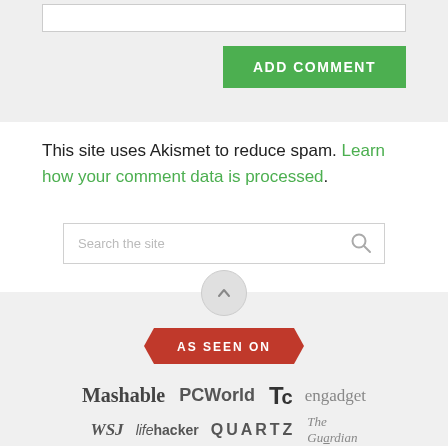[Figure (screenshot): Comment form section with a white input box and a green ADD COMMENT button on grey background]
This site uses Akismet to reduce spam. Learn how your comment data is processed.
[Figure (screenshot): Search bar with placeholder text 'Search the site' and a magnifying glass icon]
[Figure (screenshot): Scroll-to-top circular button with upward arrow on grey background]
[Figure (infographic): AS SEEN ON badge in red with publication logos: Mashable, PCWorld, TechCrunch, engadget, WSJ, lifehacker, QUARTZ, The Guardian]